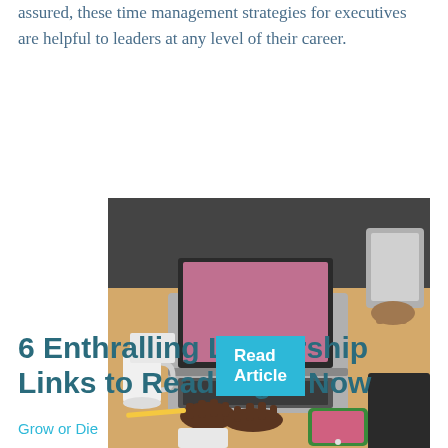assured, these time management strategies for executives are helpful to leaders at any level of their career.
Read Article
[Figure (photo): Person typing on a laptop at a wooden desk with a coffee cup, smartphone, and another person holding a tablet in the background.]
6 Enthralling Leadership Links to Read Right Now
Grow or Die